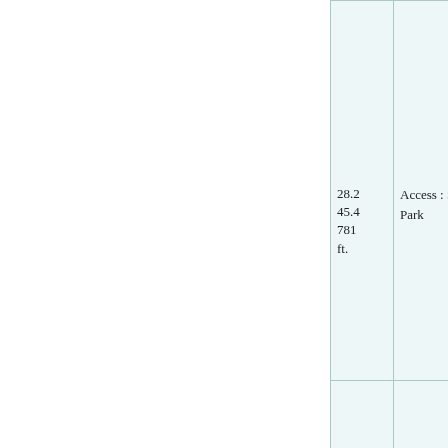| 28.2
45.4
781 ft. | Access : State Park |
|  |  |